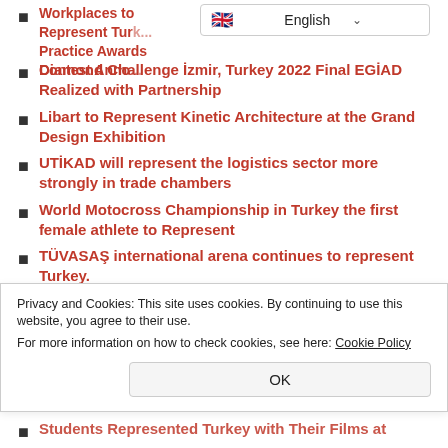Workplaces to Represent Turkey... Practice Awards Contest Anno...
[Figure (screenshot): English language selector dropdown UI element]
Diamond Challenge İzmir, Turkey 2022 Final EGİAD Realized with Partnership
Libart to Represent Kinetic Architecture at the Grand Design Exhibition
UTİKAD will represent the logistics sector more strongly in trade chambers
World Motocross Championship in Turkey the first female athlete to Represent
TÜVASAŞ international arena continues to represent Turkey.
Competition in the European Representation in Turkey
Privacy and Cookies: This site uses cookies. By continuing to use this website, you agree to their use.
For more information on how to check cookies, see here: Cookie Policy
Students Represented Turkey with Their Films at